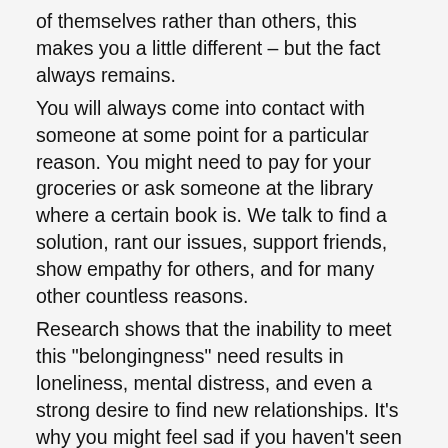of themselves rather than others, this makes you a little different – but the fact always remains. You will always come into contact with someone at some point for a particular reason. You might need to pay for your groceries or ask someone at the library where a certain book is. We talk to find a solution, rant our issues, support friends, show empathy for others, and for many other countless reasons. Research shows that the inability to meet this "belongingness" need results in loneliness, mental distress, and even a strong desire to find new relationships. It's why you might feel sad if you haven't seen a good friend in a while or if you travel far from home, you feel homesick. You miss the relationships and support from family, friends, and relatives. Many believe that having these interpersonal or romantic relationships are indeed vital to survival. When it contributes to mental and emotional well-